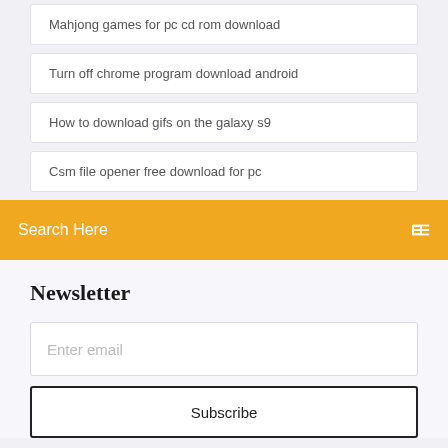Mahjong games for pc cd rom download
Turn off chrome program download android
How to download gifs on the galaxy s9
Csm file opener free download for pc
Search Here
Newsletter
Enter email
Subscribe